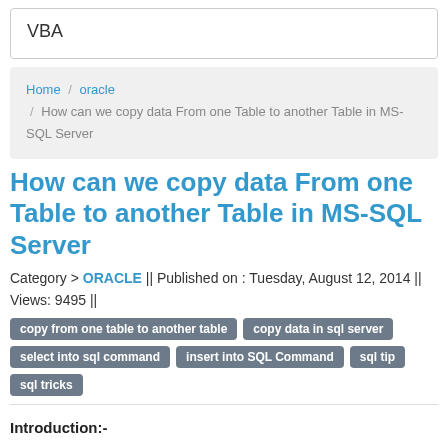VBA
Home / oracle / How can we copy data From one Table to another Table in MS-SQL Server
How can we copy data From one Table to another Table in MS-SQL Server
Category > ORACLE || Published on : Tuesday, August 12, 2014 || Views: 9495 ||
copy from one table to another table
copy data in sql server
select into sql command
insert into SQL Command
sql tip
sql tricks
Introduction:-